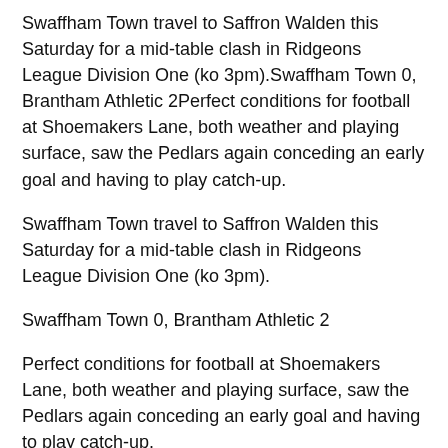Swaffham Town travel to Saffron Walden this Saturday for a mid-table clash in Ridgeons League Division One (ko 3pm).Swaffham Town 0, Brantham Athletic 2Perfect conditions for football at Shoemakers Lane, both weather and playing surface, saw the Pedlars again conceding an early goal and having to play catch-up.
Swaffham Town travel to Saffron Walden this Saturday for a mid-table clash in Ridgeons League Division One (ko 3pm).
Swaffham Town 0, Brantham Athletic 2
Perfect conditions for football at Shoemakers Lane, both weather and playing surface, saw the Pedlars again conceding an early goal and having to play catch-up.